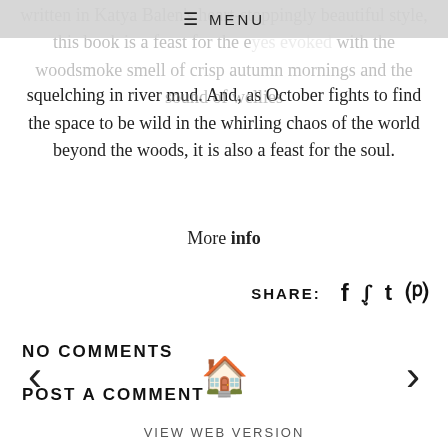≡ MENU
written in Katya Balen's heart-stoppingly beautiful style, this book is a feast for the eyes evoked with the woodsmoke smell of crisp autumn mornings and the sound of wellies squelching in river mud. And, as October fights to find the space to be wild in the whirling chaos of the world beyond the woods, it is also a feast for the soul.
More info
SHARE: f 🐦 t ⊕
NO COMMENTS
POST A COMMENT
< 🏠 >
VIEW WEB VERSION